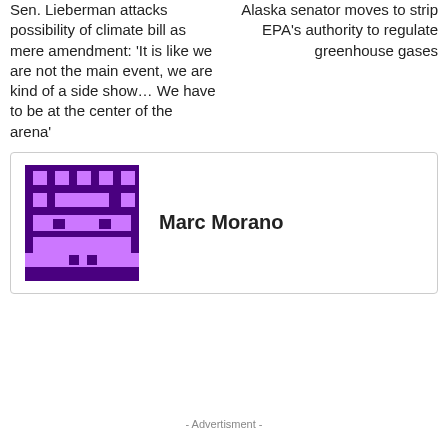Sen. Lieberman attacks possibility of climate bill as mere amendment: 'It is like we are not the main event, we are kind of a side show… We have to be at the center of the arena'
Alaska senator moves to strip EPA's authority to regulate greenhouse gases
[Figure (illustration): Pixelated purple avatar image representing Marc Morano]
Marc Morano
- Advertisment -